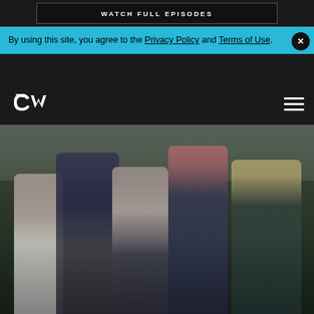WATCH FULL EPISODES
By using this site, you agree to the Privacy Policy and Terms of Use.
[Figure (logo): The CW network logo in white on dark background]
[Figure (photo): Group photo of five cast members from a TV show, posed in a comedic style against an outdoor background]